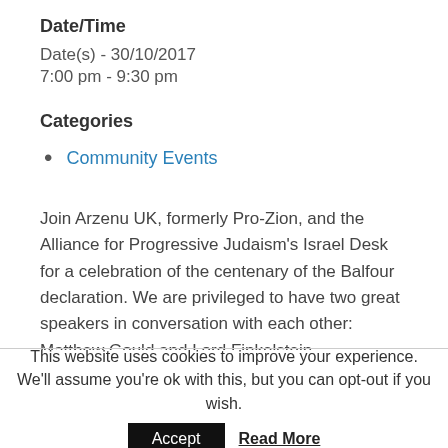Date/Time
Date(s) - 30/10/2017
7:00 pm - 9:30 pm
Categories
Community Events
Join Arzenu UK, formerly Pro-Zion, and the Alliance for Progressive Judaism's Israel Desk for a celebration of the centenary of the Balfour declaration. We are privileged to have two great speakers in conversation with each other: Matthew Gould and Lord Finkelstein.
This website uses cookies to improve your experience. We'll assume you're ok with this, but you can opt-out if you wish.
Accept   Read More